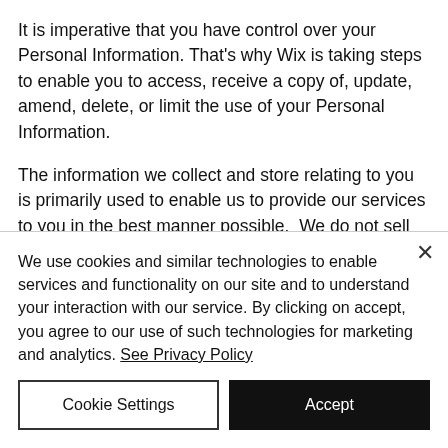It is imperative that you have control over your Personal Information. That's why Wix is taking steps to enable you to access, receive a copy of, update, amend, delete, or limit the use of your Personal Information.
The information we collect and store relating to you is primarily used to enable us to provide our services to you in the best manner possible.  We do not sell or rent your personal information to anyone for any reason and at any…
We use cookies and similar technologies to enable services and functionality on our site and to understand your interaction with our service. By clicking on accept, you agree to our use of such technologies for marketing and analytics. See Privacy Policy